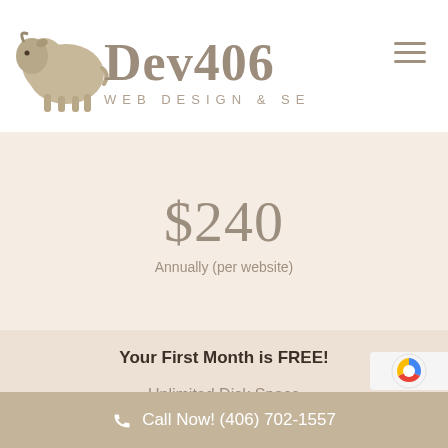Dev406 Web Design & SEO
$240
Annually (per website)
Your First Month is FREE!
Unlimited Disk Space
Unlimited Bandwidth
FREE SSL Certificate
CDN Available
Call Now! (406) 702-1557